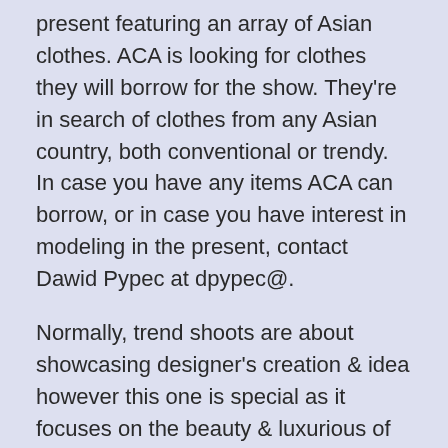present featuring an array of Asian clothes. ACA is looking for clothes they will borrow for the show. They're in search of clothes from any Asian country, both conventional or trendy. In case you have any items ACA can borrow, or in case you have interest in modeling in the present, contact Dawid Pypec at dpypec@.
Normally, trend shoots are about showcasing designer's creation & idea however this one is special as it focuses on the beauty & luxurious of Rajasthan's Handloom which are beautifully created by the weavers from varied villages of the state.Â I shot this picture series utilizing